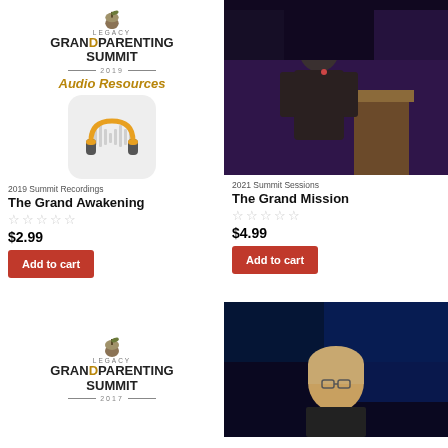[Figure (logo): Legacy Grand Parenting Summit 2019 Audio Resources logo with headphone icon]
[Figure (photo): Man in suit speaking at a podium on a stage with purple background lighting]
2019 Summit Recordings
The Grand Awakening
☆☆☆☆☆
$2.99
Add to cart
2021 Summit Sessions
The Grand Mission
☆☆☆☆☆
$4.99
Add to cart
[Figure (logo): Legacy Grand Parenting Summit 2017 logo]
[Figure (photo): Woman with short hair speaking at an event, dark blue background]